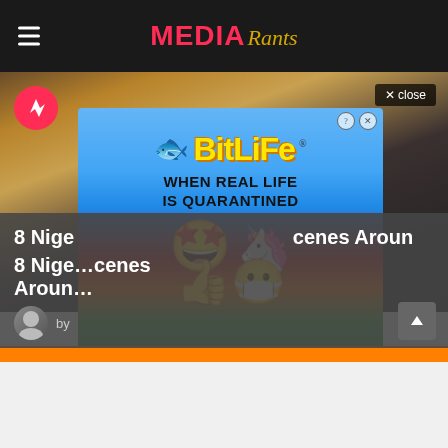MEDIA Rants
[Figure (photo): Nigerian celebrities photo with two people visible, overlaid by a BitLife advertisement popup. Close button reads 'X close'. The ad shows the BitLife logo with sperm icon and text 'WHEN REAL LIFE IS QUARANTINED' with emoji characters including star-eyes face, thumbs up, and unicorn on a rainbow background.]
8 Nige... cenes Aroun...
by